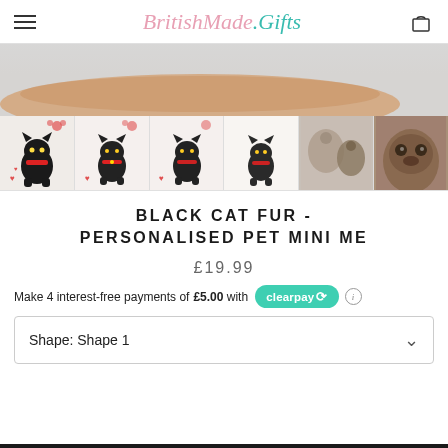BritishMade.Gifts
[Figure (photo): Hero product photo showing a hand holding a small black cat plush mini-me toy]
[Figure (photo): Thumbnail strip showing 6 product images of black cat fur personalised pet mini me toys]
BLACK CAT FUR - PERSONALISED PET MINI ME
£19.99
Make 4 interest-free payments of £5.00 with clearpay
Shape: Shape 1